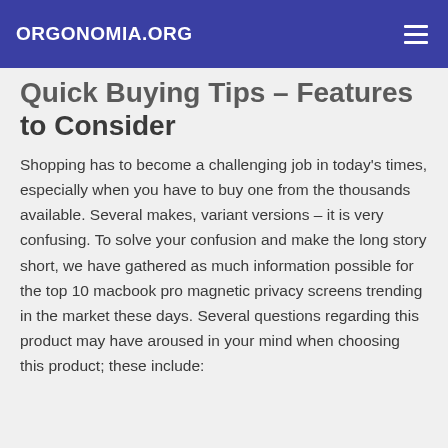ORGONOMIA.ORG
Quick Buying Tips – Features to Consider
Shopping has to become a challenging job in today's times, especially when you have to buy one from the thousands available. Several makes, variant versions – it is very confusing. To solve your confusion and make the long story short, we have gathered as much information possible for the top 10 macbook pro magnetic privacy screens trending in the market these days. Several questions regarding this product may have aroused in your mind when choosing this product; these include: